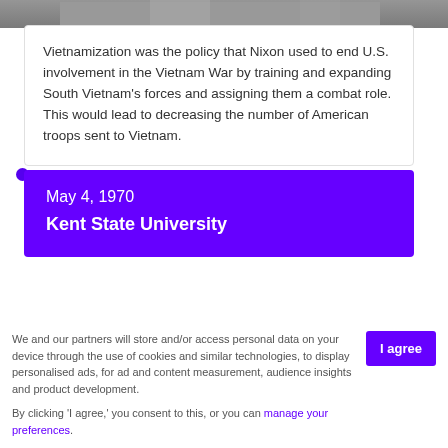[Figure (photo): Black and white photo strip at top of page]
Vietnamization was the policy that Nixon used to end U.S. involvement in the Vietnam War by training and expanding South Vietnam's forces and assigning them a combat role. This would lead to decreasing the number of American troops sent to Vietnam.
May 4, 1970
Kent State University
We and our partners will store and/or access personal data on your device through the use of cookies and similar technologies, to display personalised ads, for ad and content measurement, audience insights and product development.

By clicking 'I agree,' you consent to this, or you can manage your preferences.